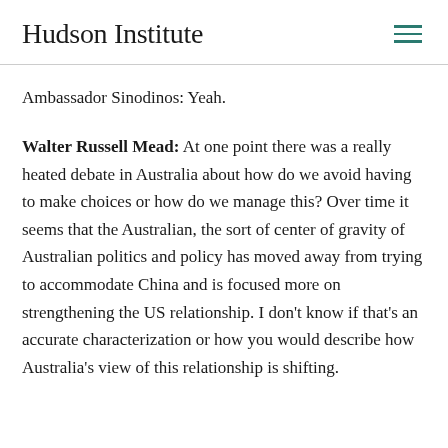Hudson Institute
Ambassador Sinodinos: Yeah.
Walter Russell Mead: At one point there was a really heated debate in Australia about how do we avoid having to make choices or how do we manage this? Over time it seems that the Australian, the sort of center of gravity of Australian politics and policy has moved away from trying to accommodate China and is focused more on strengthening the US relationship. I don’t know if that’s an accurate characterization or how you would describe how Australia’s view of this relationship is shifting.